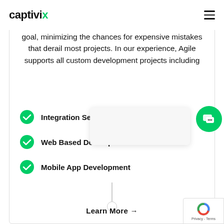captivix
goal, minimizing the chances for expensive mistakes that derail most projects. In our experience, Agile supports all custom development projects including
Integration Se...
Web Based Development
Mobile App Development
Learn More →